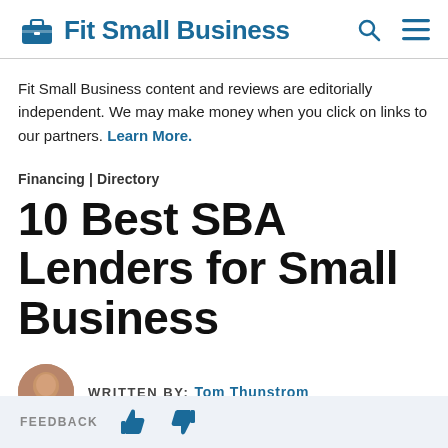Fit Small Business
Fit Small Business content and reviews are editorially independent. We may make money when you click on links to our partners. Learn More.
Financing | Directory
10 Best SBA Lenders for Small Business
WRITTEN BY: Tom Thunstrom
FEEDBACK